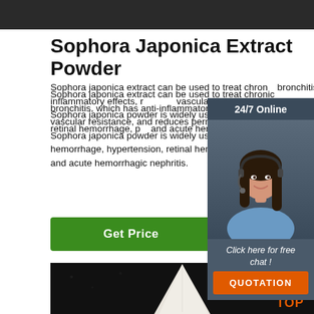[Figure (photo): Dark/black top banner image strip at the very top of page]
Sophora Japonica Extract Powder
Sophora japonica extract can be used to treat chronic bronchitis, which has anti-inflammatory effects, reduces vascular resistance, and reduces permeability, fr... Sophora japonica powder is widely used to prevent hemorrhage, hypertension, retinal hemorrhage, p... and acute hemorrhagic nephritis.
[Figure (photo): Chat widget with customer support agent photo, 24/7 Online header, 'Click here for free chat!' text, and orange QUOTATION button]
Get Price
[Figure (photo): Dark background product photo showing white powder or extract in a conical/pointed shape, with TOP logo in orange bottom right corner]